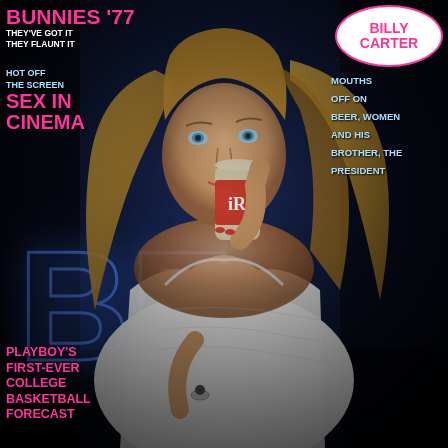BUNNIES '77 THEY'VE GOT IT THEY FLAUNT IT
HOT OFF THE SCREEN SEX IN CINEMA
[Figure (photo): Magazine cover photo of a blonde woman in a white tank top drinking from a beer can against a dark blue background with neon BE letters]
BILLY CARTER
MOUTHS OFF ON BEER, WOMEN AND HIS BROTHER, THE PRESIDENT
PLAYBOY'S FIRST-EVER COLLEGE BASKETBALL FORECAST